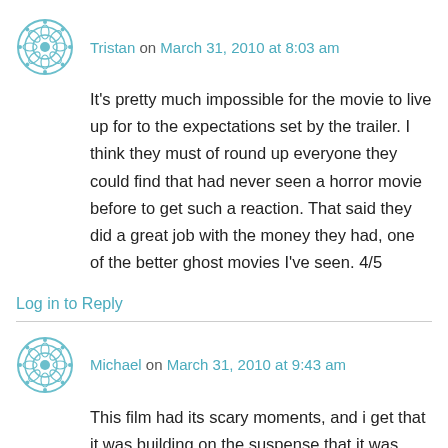Tristan on March 31, 2010 at 8:03 am
It's pretty much impossible for the movie to live up for to the expectations set by the trailer. I think they must of round up everyone they could find that had never seen a horror movie before to get such a reaction. That said they did a great job with the money they had, one of the better ghost movies I've seen. 4/5
Log in to Reply
Michael on March 31, 2010 at 9:43 am
This film had its scary moments, and i get that it was building on the suspense that it was gradually getting worse and the last 5 minutes